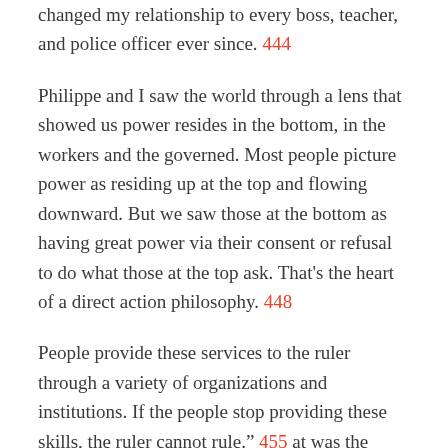changed my relationship to every boss, teacher, and police officer ever since. 444
Philippe and I saw the world through a lens that showed us power resides in the bottom, in the workers and the governed. Most people picture power as residing up at the top and flowing downward. But we saw those at the bottom as having great power via their consent or refusal to do what those at the top ask. That's the heart of a direct action philosophy. 448
People provide these services to the ruler through a variety of organizations and institutions. If the people stop providing these skills, the ruler cannot rule." 455 at was the heart of the document search—ending citizen passivity by challenging an abusive organization. 457 We model transparency by laying out our complete timeline, to help get people off the PGCB's timeline and put citizens back in the driver's seat. That gives the media time to cover us and time for